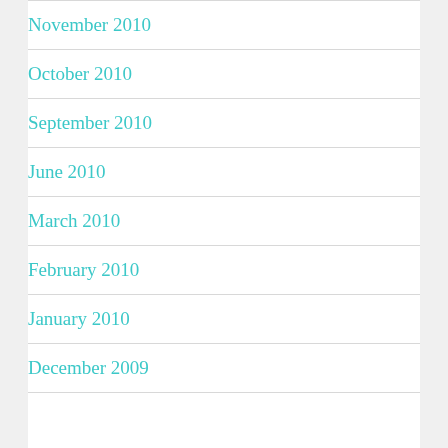November 2010
October 2010
September 2010
June 2010
March 2010
February 2010
January 2010
December 2009